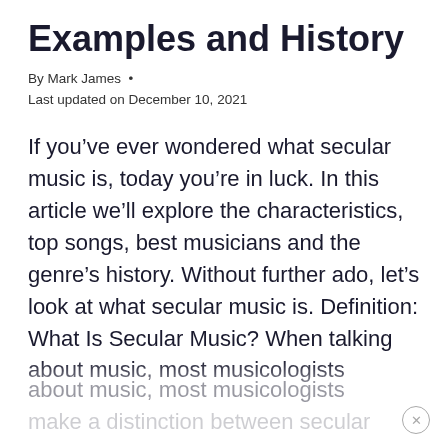Examples and History
By Mark James •
Last updated on December 10, 2021
If you’ve ever wondered what secular music is, today you’re in luck. In this article we’ll explore the characteristics, top songs, best musicians and the genre’s history. Without further ado, let’s look at what secular music is. Definition: What Is Secular Music? When talking about music, most musicologists make a distinction between secular